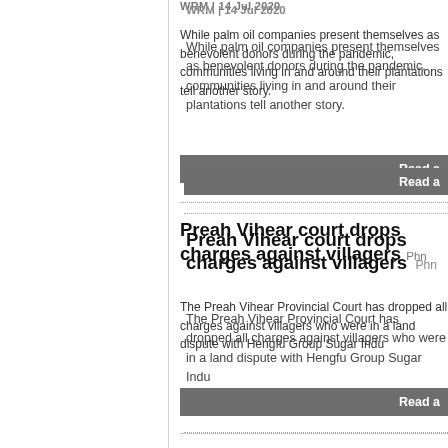WRM | 14 Jul 2020
While palm oil companies... communities living in and... tell another story.
Read a
Preah Vihear court ... against villagers
Phn...
The Preah Vihear Provin... has dropped all charges a... villagers who were in a la... Hengfu Group Sugar Indu...
Read a
Forrests outbid Indi... WA cattle station
AFP...
Mining billionaire Andrew... conservation and heritage... balanced against the nee...